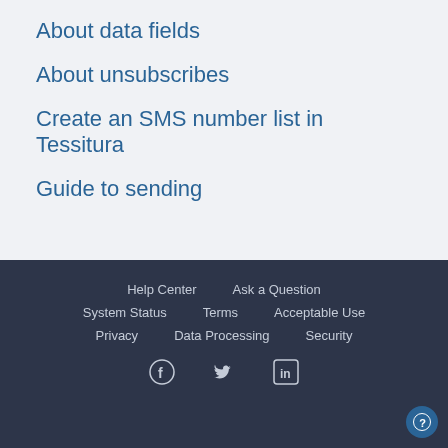About data fields
About unsubscribes
Create an SMS number list in Tessitura
Guide to sending
Help Center  Ask a Question  System Status  Terms  Acceptable Use  Privacy  Data Processing  Security